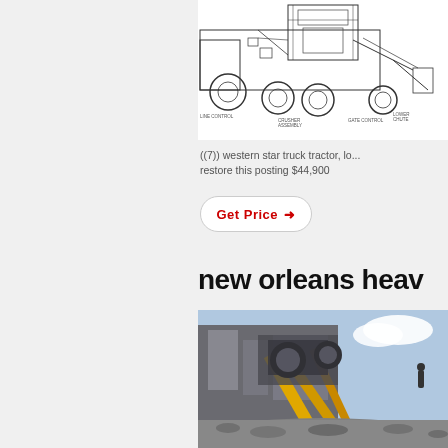[Figure (engineering-diagram): Technical line drawing of a crusher assembly on a truck/trailer, with labels: CRUSHER ASSEMBLY, LOWER CHUTE, GATE CONTROL, LIVE CHAT bubble overlay]
((7)) western star truck tractor, lo... restore this posting $44,900
Get Price →
new orleans heav
[Figure (photo): Photo of heavy industrial crushing/screening equipment with yellow conveyors and aggregate material in foreground, outdoors]